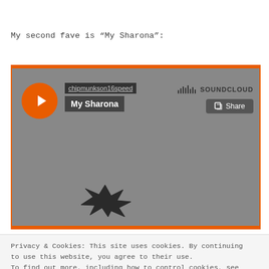My second fave is “My Sharona”:
[Figure (screenshot): Embedded SoundCloud player showing track 'My Sharona' by chipmunkson16speed, with orange play button, track info labels, SoundCloud logo, and Share button on a gray background with orange top and bottom borders. An explosion graphic is partially visible at the bottom.]
Privacy & Cookies: This site uses cookies. By continuing to use this website, you agree to their use.
To find out more, including how to control cookies, see here: Cookie Policy
Close and accept